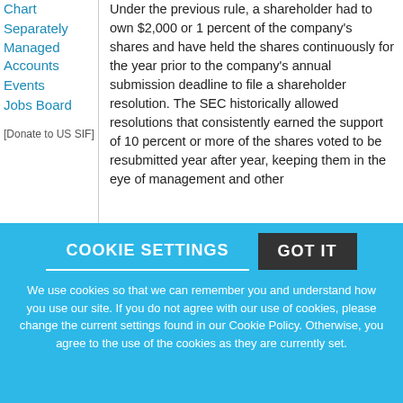Chart
Separately Managed Accounts
Events
Jobs Board
[Figure (other): Donate to US SIF image/link]
Under the previous rule, a shareholder had to own $2,000 or 1 percent of the company's shares and have held the shares continuously for the year prior to the company's annual submission deadline to file a shareholder resolution. The SEC historically allowed resolutions that consistently earned the support of 10 percent or more of the shares voted to be resubmitted year after year, keeping them in the eye of management and other
COOKIE SETTINGS   GOT IT
We use cookies so that we can remember you and understand how you use our site. If you do not agree with our use of cookies, please change the current settings found in our Cookie Policy. Otherwise, you agree to the use of the cookies as they are currently set.